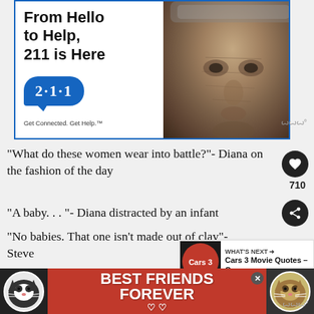[Figure (photo): Advertisement banner for 211 service showing elderly man's face on the right and text 'From Hello to Help, 211 is Here' with 211 logo bubble on the left. Blue border.]
“What do these women wear into battle?”- Diana on the fashion of the day
“A baby… ”- Diana distracted by an infant
“No babies. That one isn’t made out of clay”- Steve
[Figure (screenshot): What's Next overlay showing Cars 3 Movie Quotes thumbnail with red racing car icon and text 'WHAT’S NEXT → Cars 3 Movie Quotes – Ou...']
“You got to put the sword down, Diana.”- Steve
[Figure (photo): Advertisement banner at the bottom: red background with two cat photos (left: tuxedo cat, right: tabby cat) and text 'BEST FRIENDS FOREVER' with hearts. Close X button visible.]